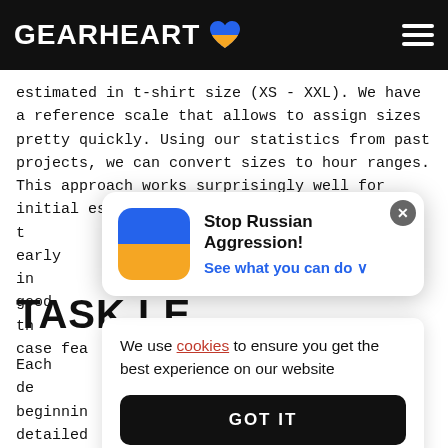GEARHEART
estimated in t-shirt size (XS - XXL). We have a reference scale that allows to assign sizes pretty quickly. Using our statistics from past projects, we can convert sizes to hour ranges. This approach works surprisingly well for initial estimations and allows t... early in... good th... case fea...
[Figure (infographic): Stop Russian Aggression! popup with Ukrainian flag icon and 'See what you can do' link]
[Figure (infographic): Cookie consent popup: 'We use cookies to ensure you get the best experience on our website' with GOT IT button]
TASK LE...
Each de... beginnin... detailed... r steps. Each step is estimated in hours, up to 4 hours each in our case. It's simple to catch possible